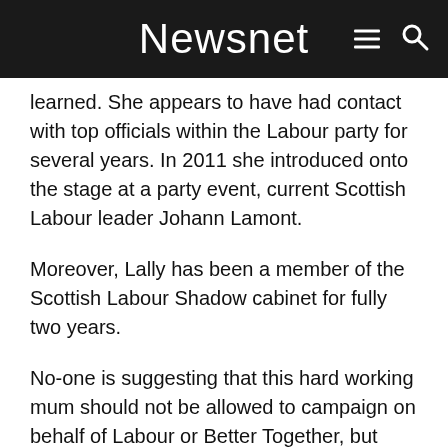Newsnet
learned.  She appears to have had contact with top officials within the Labour party for several years.  In 2011 she introduced onto the stage at a party event, current Scottish Labour leader Johann Lamont.
Moreover, Lally has been a member of the Scottish Labour Shadow cabinet for fully two years.
No-one is suggesting that this hard working mum should not be allowed to campaign on behalf of Labour or Better Together, but nobody from the No campaign has admitted Ms Lally rather misrepresented her own political situation.
An ‘ordinary’ mum would have accepted Campbell Gunn's gracious and unreserved apology with good grace.  Lally